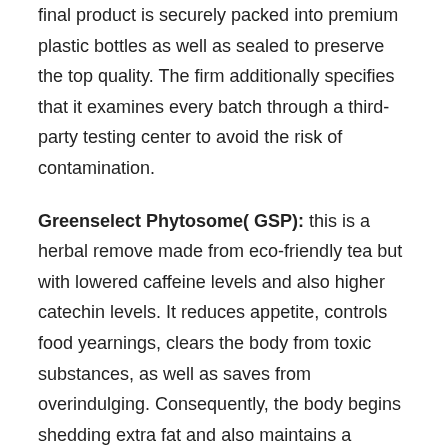final product is securely packed into premium plastic bottles as well as sealed to preserve the top quality. The firm additionally specifies that it examines every batch through a third-party testing center to avoid the risk of contamination.
Greenselect Phytosome( GSP): this is a herbal remove made from eco-friendly tea but with lowered caffeine levels and also higher catechin levels. It reduces appetite, controls food yearnings, clears the body from toxic substances, as well as saves from overindulging. Consequently, the body begins shedding extra fat and also maintains a healthy weight.
Bifidobacterium longum: the supplement form of this germs can minimize body fat, enhance insulin feedback, control high blood pressure and also change metabolic rate completely.
Lactobacillus Plantarum: while various other LeanBiome ingredients service weight loss, this microbial stress particularly